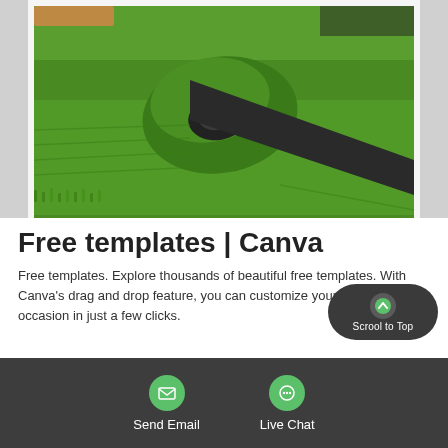[Figure (photo): A rolled-up artificial grass/turf mat unrolled on a green lawn surface, showing the dark rubber backing and green synthetic grass fibers.]
Free templates | Canva
Free templates. Explore thousands of beautiful free templates. With Canva's drag and drop feature, you can customize your design for any occasion in just a few clicks.
[Figure (other): Scroll to Top button — dark oval button with a green circle containing an upward arrow and the label 'Scrool to Top']
Send Email    Live Chat